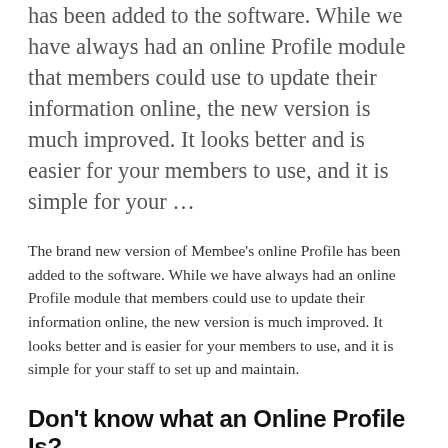has been added to the software.  While we have always had an online Profile module that members could use to update their information online, the new version is much improved.  It looks better and is easier for your members to use, and it is simple for your …
The brand new version of Membee's online Profile has been added to the software.  While we have always had an online Profile module that members could use to update their information online, the new version is much improved.  It looks better and is easier for your members to use, and it is simple for your staff to set up and maintain.
Don't know what an Online Profile Is?
Some people confuse the Membee Profile with the Membee Directory.  The online member Profile is a Membee module that you post on your site to allow your members to access and